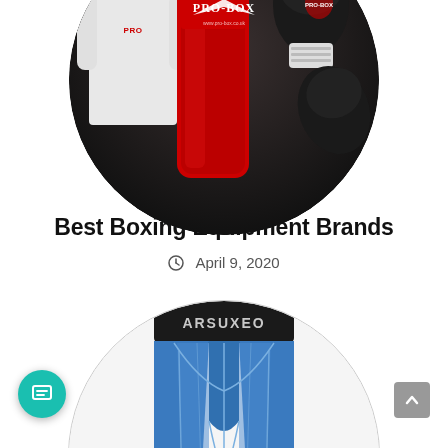[Figure (photo): Circular photo showing PRO-BOX branded boxing equipment — a red punching pad with PRO-BOX logo in center, a person in white shirt on the left, and black boxing gloves on the right, against a dark background.]
Best Boxing Equipment Brands
April 9, 2020
[Figure (photo): Circular photo showing blue ARSUXEO compression pants/tights with a dark waistband, displayed on white background. The pants have stitched panel lines in lighter color.]